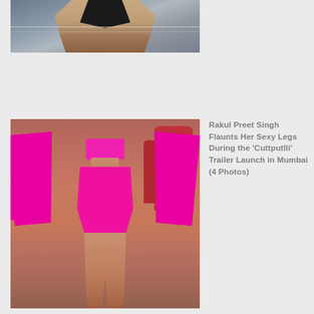[Figure (photo): Partial view of a person in a black swimsuit against a grey/blue background with a wire or railing visible]
[Figure (photo): Full body photo of Rakul Preet Singh wearing a bright pink/magenta blazer jacket and mini skirt outfit at the Cuttputlli trailer launch event in Mumbai, standing against a red backdrop]
Rakul Preet Singh Flaunts Her Sexy Legs During the ‘Cuttputlli’ Trailer Launch in Mumbai (4 Photos)